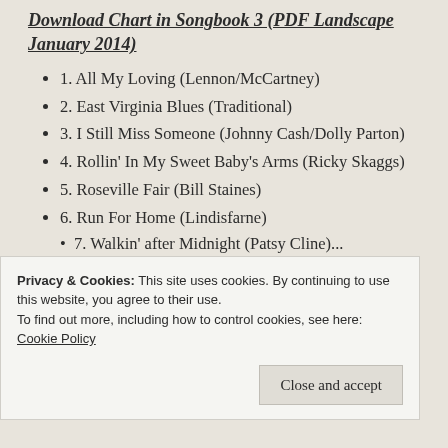Download Chart in Songbook 3 (PDF Landscape January 2014)
1. All My Loving (Lennon/McCartney)
2. East Virginia Blues (Traditional)
3. I Still Miss Someone (Johnny Cash/Dolly Parton)
4. Rollin' In My Sweet Baby's Arms (Ricky Skaggs)
5. Roseville Fair (Bill Staines)
6. Run For Home (Lindisfarne)
Privacy & Cookies: This site uses cookies. By continuing to use this website, you agree to their use. To find out more, including how to control cookies, see here: Cookie Policy
Close and accept